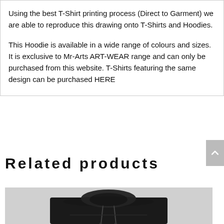Using the best T-Shirt printing process (Direct to Garment) we are able to reproduce this drawing onto T-Shirts and Hoodies.
This Hoodie is available in a wide range of colours and sizes. It is exclusive to Mr-Arts ART-WEAR range and can only be purchased from this website. T-Shirts featuring the same design can be purchased HERE
Related products
[Figure (photo): A black hoodie on a grey background, showing the collar and upper torso area of the garment.]